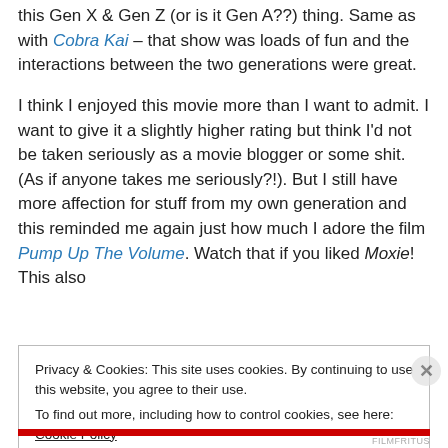this Gen X & Gen Z (or is it Gen A??) thing. Same as with Cobra Kai – that show was loads of fun and the interactions between the two generations were great.
I think I enjoyed this movie more than I want to admit. I want to give it a slightly higher rating but think I'd not be taken seriously as a movie blogger or some shit. (As if anyone takes me seriously?!). But I still have more affection for stuff from my own generation and this reminded me again just how much I adore the film Pump Up The Volume. Watch that if you liked Moxie! This also
Privacy & Cookies: This site uses cookies. By continuing to use this website, you agree to their use.
To find out more, including how to control cookies, see here: Cookie Policy
Close and accept